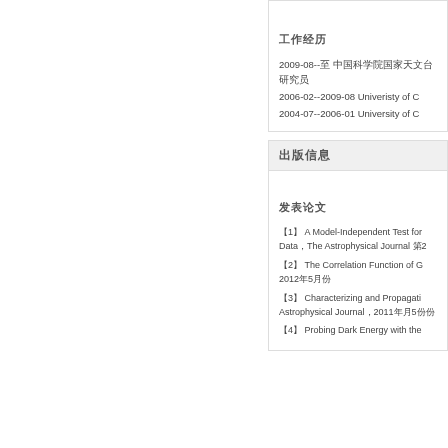工作经历
2009-08--至 中国科学院国家天文台 研究员
2006-02--2009-08 Univeristy of C...
2004-07--2006-01 University of C...
出版信息
发表论文
【1】 A Model-Independent Test for... Data，The Astrophysical Journal 第...
【2】 The Correlation Function of G... 2012年5月份
【3】 Characterizing and Propagati... Astrophysical Journal，2011年月5份份
【4】 Probing Dark Energy with the... 第5份，2011年2份